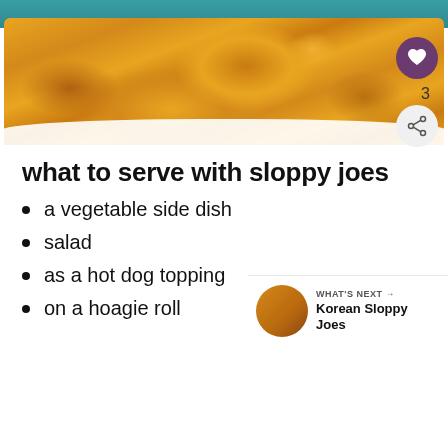[Figure (photo): A baked casserole dish with melted orange cheese on top, set against a teal background]
what to serve with sloppy joes
a vegetable side dish
salad
as a hot dog topping
on a hoagie roll